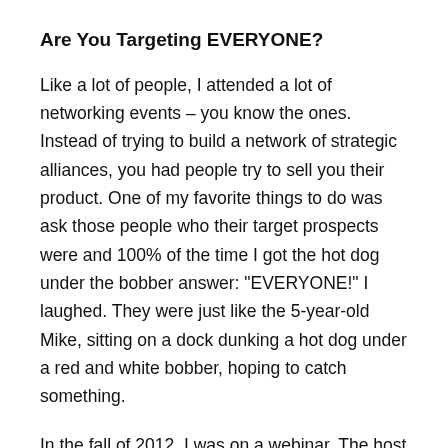Are You Targeting EVERYONE?
Like a lot of people, I attended a lot of networking events – you know the ones. Instead of trying to build a network of strategic alliances, you had people try to sell you their product. One of my favorite things to do was ask those people who their target prospects were and 100% of the time I got the hot dog under the bobber answer: "EVERYONE!" I laughed. They were just like the 5-year-old Mike, sitting on a dock dunking a hot dog under a red and white bobber, hoping to catch something.
In the fall of 2012, I was on a webinar. The host shared the perfect exercise on how to